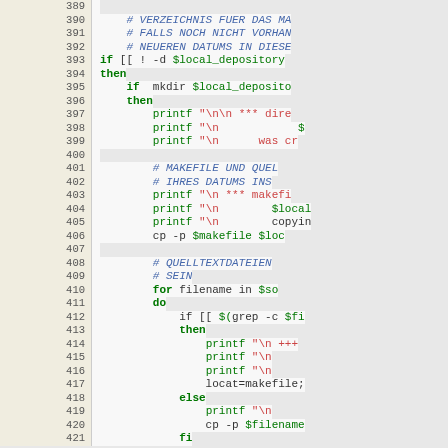[Figure (screenshot): Source code listing in shell script, lines 389-421, with line numbers in beige column and syntax-highlighted code (keywords in green, comments in blue italic, strings in red)]